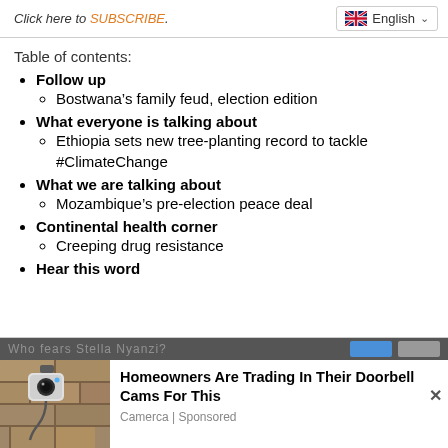Click here to SUBSCRIBE. English
Table of contents:
Follow up
Bostwana’s family feud, election edition
What everyone is talking about
Ethiopia sets new tree-planting record to tackle #ClimateChange
What we are talking about
Mozambique’s pre-election peace deal
Continental health corner
Creeping drug resistance
Hear this word
[Figure (screenshot): Advertisement banner: Homeowners Are Trading In Their Doorbell Cams For This by Camerca | Sponsored, with image of a security camera on a wall]